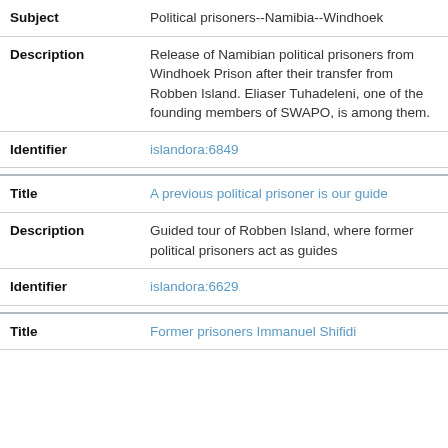| Field | Value |
| --- | --- |
| Subject | Political prisoners--Namibia--Windhoek |
| Description | Release of Namibian political prisoners from Windhoek Prison after their transfer from Robben Island. Eliaser Tuhadeleni, one of the founding members of SWAPO, is among them. |
| Identifier | islandora:6849 |
| --- | --- |
| Title | A previous political prisoner is our guide |
| Description | Guided tour of Robben Island, where former political prisoners act as guides |
| Identifier | islandora:6629 |
| --- | --- |
| Title | Former prisoners Immanuel Shifidi... |